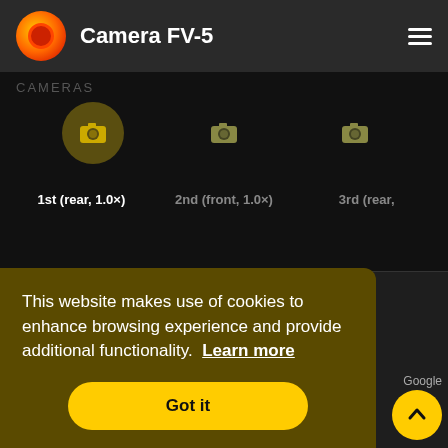Camera FV-5
[Figure (screenshot): Camera selection UI showing three camera options: 1st (rear, 1.0×), 2nd (front, 1.0×), 3rd (rear,) with camera icons]
Postfach 1151 71409 Schwaikheim Germany
contact@fgae.de
This website makes use of cookies to enhance browsing experience and provide additional functionality. Learn more
Got it